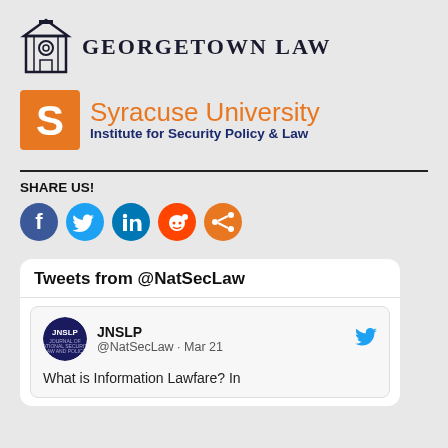[Figure (logo): Georgetown Law logo with building icon and text GEORGETOWN LAW]
[Figure (logo): Syracuse University Institute for Security Policy & Law logo with orange S]
SHARE US!
[Figure (infographic): Social share icons: Facebook, Twitter, LinkedIn, Reddit, Share]
[Figure (screenshot): Twitter widget: Tweets from @NatSecLaw. JNSLP @NatSecLaw · Mar 21. What is Information Lawfare? In]